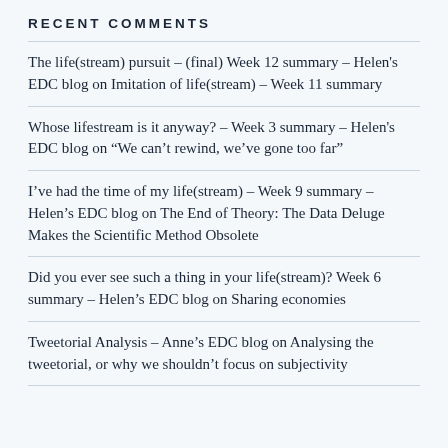RECENT COMMENTS
The life(stream) pursuit – (final) Week 12 summary – Helen's EDC blog on Imitation of life(stream) – Week 11 summary
Whose lifestream is it anyway? – Week 3 summary – Helen's EDC blog on “We can’t rewind, we’ve gone too far”
I’ve had the time of my life(stream) – Week 9 summary – Helen’s EDC blog on The End of Theory: The Data Deluge Makes the Scientific Method Obsolete
Did you ever see such a thing in your life(stream)? Week 6 summary – Helen’s EDC blog on Sharing economies
Tweetorial Analysis – Anne’s EDC blog on Analysing the tweetorial, or why we shouldn’t focus on subjectivity